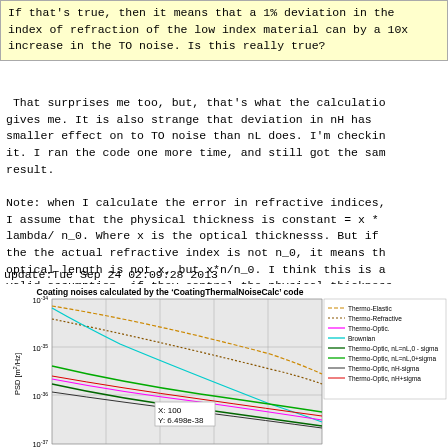If that's true, then it means that a 1% deviation in the index of refraction of the low index material can by a 10x increase in the TO noise. Is this really true?
That surprises me too, but, that's what the calculation gives me. It is also strange that deviation in nH has smaller effect on to TO noise than nL does. I'm checking it. I ran the code one more time, and still got the same result.

Note: when I calculate the error in refractive indices, I assume that the physical thickness is constant = x * lambda/ n_0. Where x is the optical thicknesss. But if the the actual refractive index is not n_0, it means th optical length is not x, but x*n/n_0. I think this is a valid assumption, if they control the physical thickness during the manufacturing process.
update:Tue Sep 24 02:09:28 2013
[Figure (continuous-plot): Line chart titled 'Coating noises calculated by the CoatingThermalNoiseCalc code' showing PSD [m^2/Hz] vs frequency. Multiple lines: Thermo-Elastic (dashed orange), Thermo-Refractive (dotted brown), Thermo-Optic (magenta), Brownian (cyan), Thermo-Optic nL=nL0-sigma (dark green), Thermo-Optic nL=nL0+sigma (green), Thermo-Optic nH-sigma (dark), Thermo-Optic nH+sigma (red). Y-axis from 10^-37 to 10^-34, X tooltip showing X:100.]